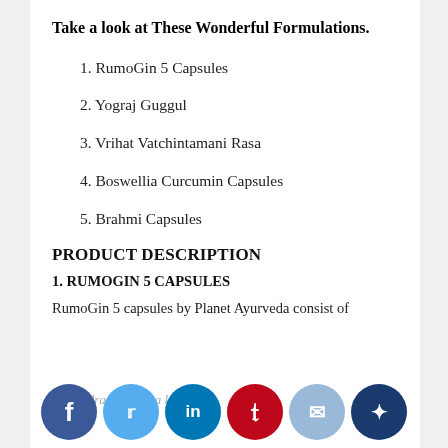Take a look at These Wonderful Formulations.
1. RumoGin 5 Capsules
2. Yograj Guggul
3. Vrihat Vatchintamani Rasa
4. Boswellia Curcumin Capsules
5. Brahmi Capsules
PRODUCT DESCRIPTION
1. RUMOGIN 5 CAPSULES
RumoGin 5 capsules by Planet Ayurveda consist of
ral h... uch a...
Haridra (Curcuma longa)